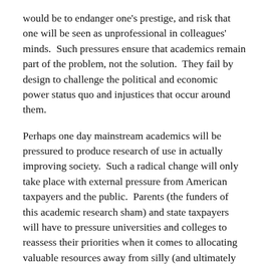would be to endanger one's prestige, and risk that one will be seen as unprofessional in colleagues' minds. Such pressures ensure that academics remain part of the problem, not the solution. They fail by design to challenge the political and economic power status quo and injustices that occur around them.
Perhaps one day mainstream academics will be pressured to produce research of use in actually improving society. Such a radical change will only take place with external pressure from American taxpayers and the public. Parents (the funders of this academic research sham) and state taxpayers will have to pressure universities and colleges to reassess their priorities when it comes to allocating valuable resources away from silly (and ultimately fruitless) research agendas that all-too-often dominate American academia. The stakes are too high for scholars to continue down this path [social share icons]